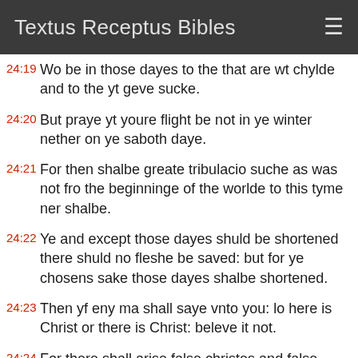Textus Receptus Bibles
24:19 Wo be in those dayes to the that are wt chylde and to the yt geve sucke.
24:20 But praye yt youre flight be not in ye winter nether on ye saboth daye.
24:21 For then shalbe greate tribulacio suche as was not fro the beginninge of the worlde to this tyme ner shalbe.
24:22 Ye and except those dayes shuld be shortened there shuld no fleshe be saved: but for ye chosens sake those dayes shalbe shortened.
24:23 Then yf eny ma shall saye vnto you: lo here is Christ or there is Christ: beleve it not.
24:24 For there shall arise false christes and false prophete and shall do great myracles and wondres. In so moche yt if it were possible